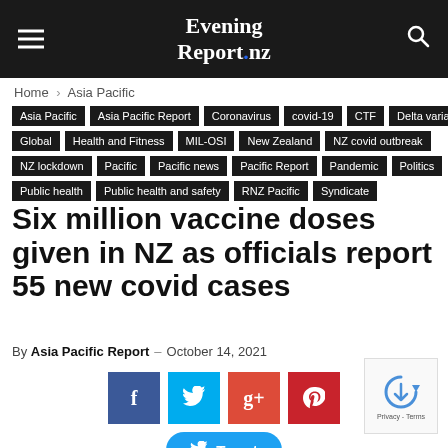Evening Report .nz
Home › Asia Pacific
Asia Pacific | Asia Pacific Report | Coronavirus | covid-19 | CTF | Delta variant | Global | Health and Fitness | MIL-OSI | New Zealand | NZ covid outbreak | NZ lockdown | Pacific | Pacific news | Pacific Report | Pandemic | Politics | Public health | Public health and safety | RNZ Pacific | Syndicate
Six million vaccine doses given in NZ as officials report 55 new covid cases
By Asia Pacific Report – October 14, 2021